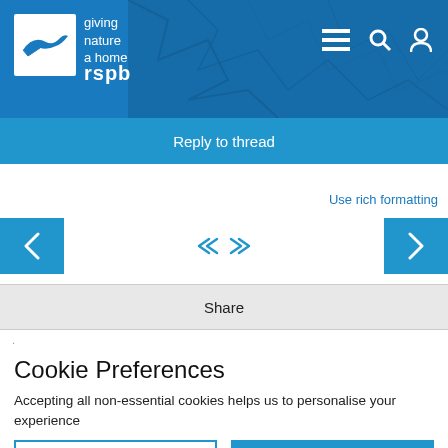[Figure (logo): RSPB logo with bird icon and tagline 'giving nature a home']
Reply to thread
Use rich formatting
[Figure (other): Navigation controls: left arrow button, double left/right arrows in center, right arrow button]
Share
Cookie Preferences
Accepting all non-essential cookies helps us to personalise your experience
EDIT SETTINGS
ACCEPT ALL